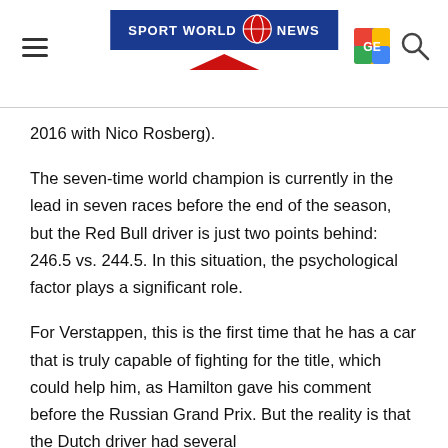Sport World News
2016 with Nico Rosberg).
The seven-time world champion is currently in the lead in seven races before the end of the season, but the Red Bull driver is just two points behind: 246.5 vs. 244.5. In this situation, the psychological factor plays a significant role.
For Verstappen, this is the first time that he has a car that is truly capable of fighting for the title, which could help him, as Hamilton gave his comment before the Russian Grand Prix. But the reality is that the Dutch driver had several